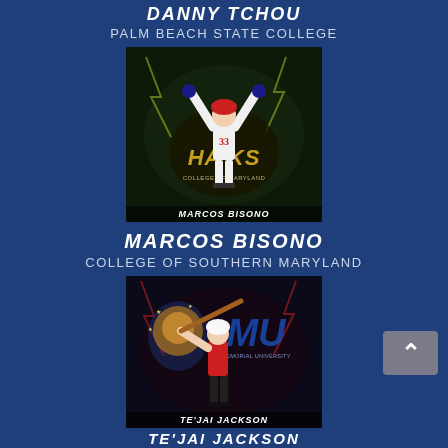DANNY TCHOU
PALM BEACH STATE COLLEGE
[Figure (photo): Athletic recruitment card for Marcos Bisono showing a baseball player with arms raised, wearing jersey #33, with Hawks College of Maryland logo in background. Name 'MARCOS BISONO' shown at bottom.]
MARCOS BISONO
COLLEGE OF SOUTHERN MARYLAND
[Figure (photo): Athletic recruitment card for Te'Jai Jackson showing a baseball player in batting stance wearing red jersey, with Florida Memorial University 'MU' logo in background.]
TE'JAI JACKSON